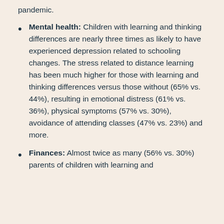pandemic.
Mental health: Children with learning and thinking differences are nearly three times as likely to have experienced depression related to schooling changes. The stress related to distance learning has been much higher for those with learning and thinking differences versus those without (65% vs. 44%), resulting in emotional distress (61% vs. 36%), physical symptoms (57% vs. 30%), avoidance of attending classes (47% vs. 23%) and more.
Finances: Almost twice as many (56% vs. 30%) parents of children with learning and